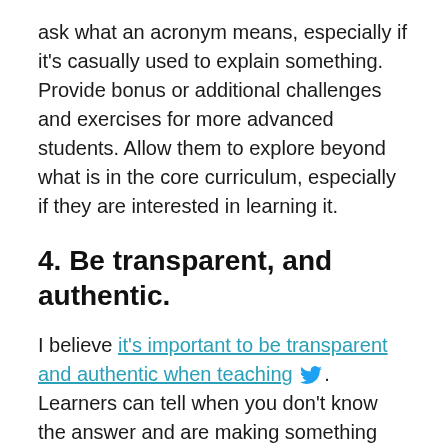ask what an acronym means, especially if it's casually used to explain something. Provide bonus or additional challenges and exercises for more advanced students. Allow them to explore beyond what is in the core curriculum, especially if they are interested in learning it.
4. Be transparent, and authentic.
I believe it's important to be transparent and authentic when teaching [twitter icon]. Learners can tell when you don't know the answer and are making something up. So admit when you don't know something, but offer to solve the problem